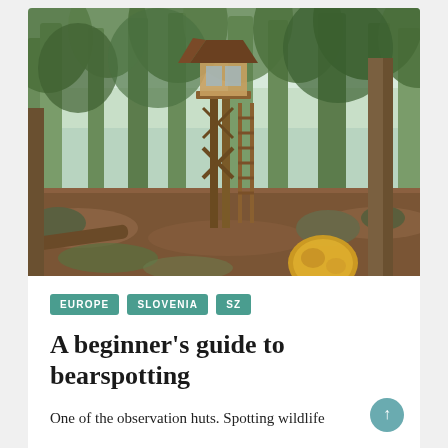[Figure (photo): A wooden observation hut elevated on stilts in a forest setting. The hut is raised high above the forest floor by wooden supports with a ladder for access. Surrounding trees are tall with green foliage filtered by daylight. The forest floor is covered with leaf litter, moss-covered rocks and fallen logs. A yellow object is partially visible in the foreground lower right.]
EUROPE
SLOVENIA
SZ
A beginner's guide to bearspotting
One of the observation huts.  Spotting wildlife